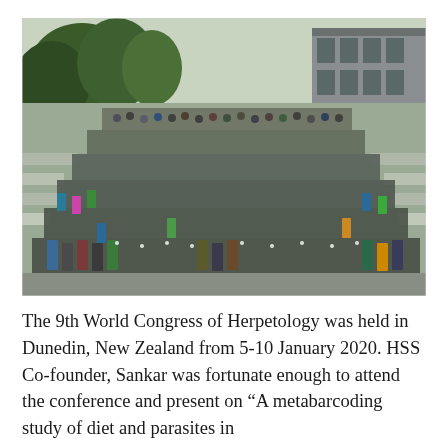[Figure (photo): Group photo of hundreds of conference attendees standing on outdoor steps in front of a building with trees, taken from a distance. The large group is arranged in rows on wide concrete stairs. Participants wear name badges and casual to smart-casual clothing.]
The 9th World Congress of Herpetology was held in Dunedin, New Zealand from 5-10 January 2020. HSS Co-founder, Sankar was fortunate enough to attend the conference and present on “A metabarcoding study of diet and parasites in